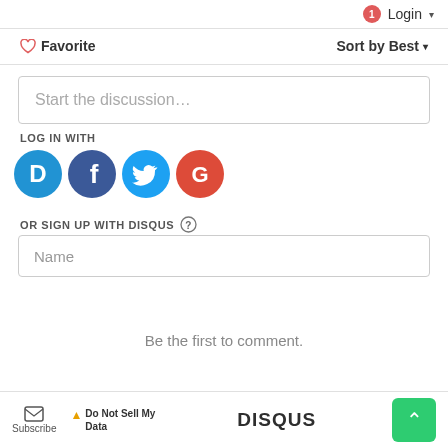Login ▾
♡ Favorite    Sort by Best ▾
Start the discussion…
LOG IN WITH
[Figure (illustration): Four social login icon circles: Disqus (blue D), Facebook (dark blue f), Twitter (sky blue bird), Google (red G)]
OR SIGN UP WITH DISQUS ?
Name
Be the first to comment.
Subscribe   ⚠ Do Not Sell My Data   DISQUS   ↑